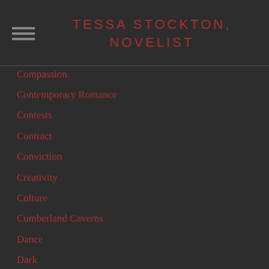TESSA STOCKTON, NOVELIST
Compassion
Contemporary Romance
Contests
Contract
Conviction
Creativity
Culture
Cumberland Caverns
Dance
Dark
Dark Horse
Death & Life
Debate
Deep Sorrow
Definitions
Dirty War
Disappointment